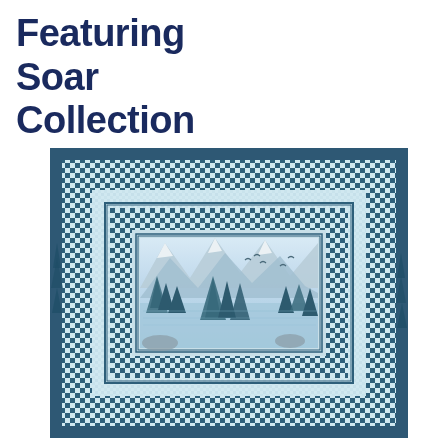Featuring Soar Collection
[Figure (illustration): A quilt featuring a winter landscape scene with pine trees, mountains, and flying birds in shades of blue and white. The quilt has multiple borders including a checkerboard pattern in teal/navy and light blue, surrounding a central panel with a scenic winter nature print.]